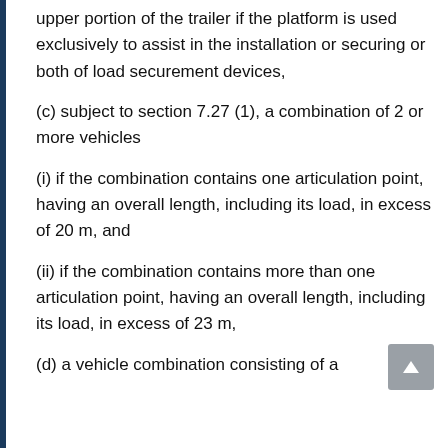upper portion of the trailer if the platform is used exclusively to assist in the installation or securing or both of load securement devices,
(c) subject to section 7.27 (1), a combination of 2 or more vehicles
(i) if the combination contains one articulation point, having an overall length, including its load, in excess of 20 m, and
(ii) if the combination contains more than one articulation point, having an overall length, including its load, in excess of 23 m,
(d) a vehicle combination consisting of a tractor and a semi-trailer and